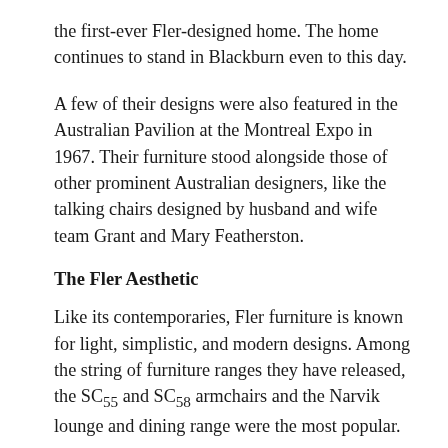the first-ever Fler-designed home. The home continues to stand in Blackburn even to this day.
A few of their designs were also featured in the Australian Pavilion at the Montreal Expo in 1967. Their furniture stood alongside those of other prominent Australian designers, like the talking chairs designed by husband and wife team Grant and Mary Featherston.
The Fler Aesthetic
Like its contemporaries, Fler furniture is known for light, simplistic, and modern designs. Among the string of furniture ranges they have released, the SC55 and SC58 armchairs and the Narvik lounge and dining range were the most popular.
The SC55 and SC58 armchairs were designed between 1955–1958, while the Narvik range was released in 1961. The armchairs and the Narvik range are in a class by